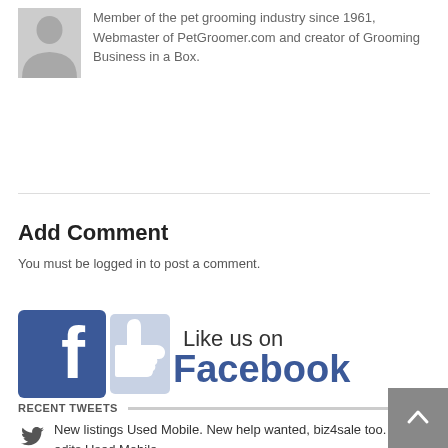Member of the pet grooming industry since 1961, Webmaster of PetGroomer.com and creator of Grooming Business in a Box.
Add Comment
You must be logged in to post a comment.
[Figure (illustration): Like us on Facebook banner with Facebook logo icon and thumbs up]
RECENT TWEETS
New listings Used Mobile. New help wanted, biz4sale too. Price edits Used Mobile.